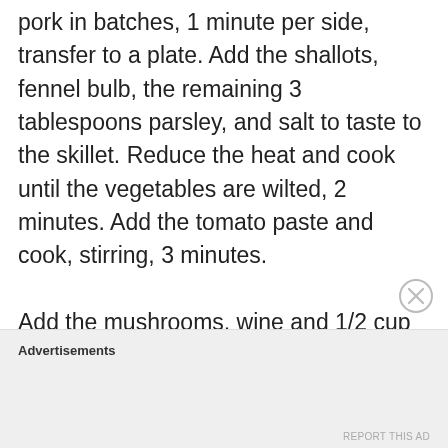pork in batches, 1 minute per side, transfer to a plate. Add the shallots, fennel bulb, the remaining 3 tablespoons parsley, and salt to taste to the skillet. Reduce the heat and cook until the vegetables are wilted, 2 minutes. Add the tomato paste and cook, stirring, 3 minutes.

Add the mushrooms, wine and 1/2 cup water; scrape up any browned bits. Cover and simmer over low heat until
Advertisements